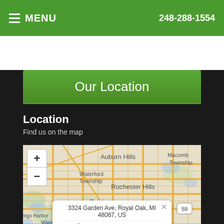MENU  248-288-1554
Our Location
Location
Find us on the map
[Figure (map): Map showing Auburn Hills, Rochester Hills, Pontiac, Waterford Township, Macomb Township area with zoom controls and a popup showing address 3324 Garden Ave, Royal Oak, MI 48067, US]
3324 Garden Ave, Royal Oak, MI 48067, US
Accessibility View